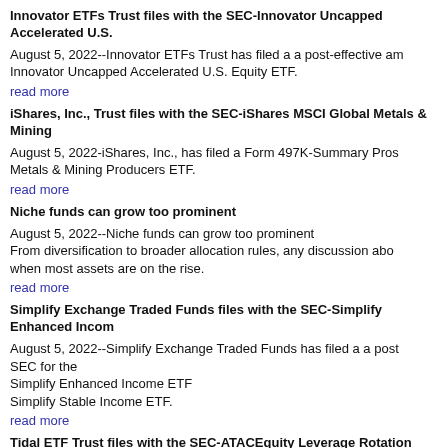Innovator ETFs Trust files with the SEC-Innovator Uncapped Accelerated U.S. Equity ETF.
August 5, 2022--Innovator ETFs Trust has filed a a post-effective amendment with the SEC for the Innovator Uncapped Accelerated U.S. Equity ETF.
read more
iShares, Inc., Trust files with the SEC-iShares MSCI Global Metals & Mining Producers ETF
August 5, 2022-iShares, Inc., has filed a Form 497K-Summary Prospectus for the iShares MSCI Global Metals & Mining Producers ETF.
read more
Niche funds can grow too prominent
August 5, 2022--Niche funds can grow too prominent From diversification to broader allocation rules, any discussion about niche funds is easy when most assets are on the rise.
read more
Simplify Exchange Traded Funds files with the SEC-Simplify Enhanced Income ETF
August 5, 2022--Simplify Exchange Traded Funds has filed a a post-effective amendment with the SEC for the Simplify Enhanced Income ETF Simplify Stable Income ETF.
read more
Tidal ETF Trust files with the SEC-ATACEquity Leverage Rotation ETF